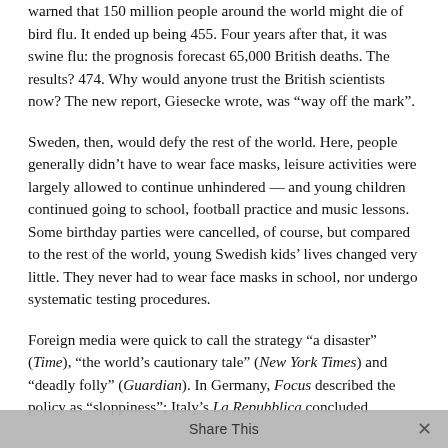warned that 150 million people around the world might die of bird flu. It ended up being 455. Four years after that, it was swine flu: the prognosis forecast 65,000 British deaths. The results? 474. Why would anyone trust the British scientists now? The new report, Giesecke wrote, was “way off the mark”.
Sweden, then, would defy the rest of the world. Here, people generally didn’t have to wear face masks, leisure activities were largely allowed to continue unhindered — and young children continued going to school, football practice and music lessons. Some birthday parties were cancelled, of course, but compared to the rest of the world, young Swedish kids’ lives changed very little. They never had to wear face masks in school, nor undergo systematic testing procedures.
Foreign media were quick to call the strategy “a disaster” (Time), “the world’s cautionary tale” (New York Times) and “deadly folly” (Guardian). In Germany, Focus described the policy as “sloppiness”; Italy’s La Repubblica concluded